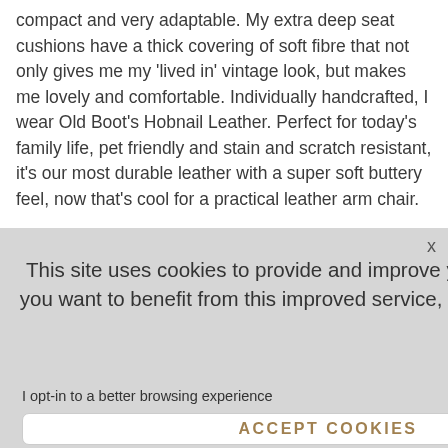compact and very adaptable. My extra deep seat cushions have a thick covering of soft fibre that not only gives me my 'lived in' vintage look, but makes me lovely and comfortable. Individually handcrafted, I wear Old Boot's Hobnail Leather. Perfect for today's family life, pet friendly and stain and scratch resistant, it's our most durable leather with a super soft buttery feel, now that's cool for a practical leather arm chair.
cm (d) x 84cm
es
le!
NTMENT
This site uses cookies to provide and improve your shopping experience. If you want to benefit from this improved service, please opt-in. Cookies Page.
I opt-in to a better browsing experience
ACCEPT COOKIES